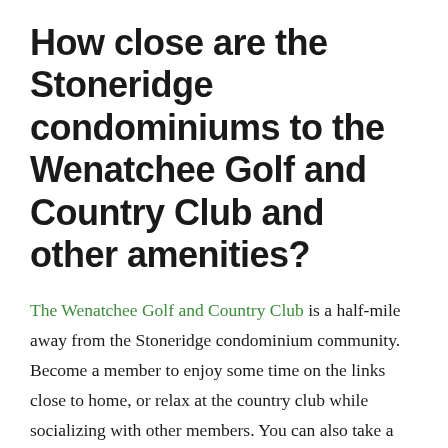How close are the Stoneridge condominiums to the Wenatchee Golf and Country Club and other amenities?
The Wenatchee Golf and Country Club is a half-mile away from the Stoneridge condominium community. Become a member to enjoy some time on the links close to home, or relax at the country club while socializing with other members. You can also take a stroll on the Apple Capital Loop Trail, which is less than two miles away from Stoneridge. The community is located off one of East Wenatchee's main thoroughfares, which